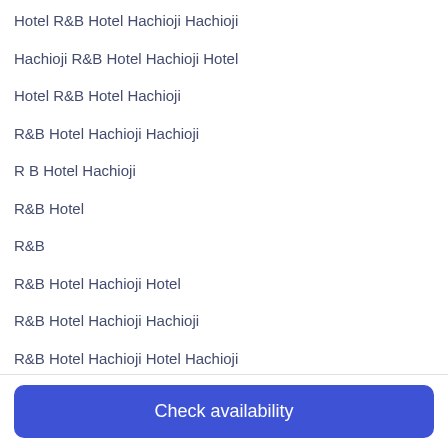Hotel R&B Hotel Hachioji Hachioji
Hachioji R&B Hotel Hachioji Hotel
Hotel R&B Hotel Hachioji
R&B Hotel Hachioji Hachioji
R B Hotel Hachioji
R&B Hotel
R&B
R&B Hotel Hachioji Hotel
R&B Hotel Hachioji Hachioji
R&B Hotel Hachioji Hotel Hachioji
4.0
Very Good
230 reviews
Check availability